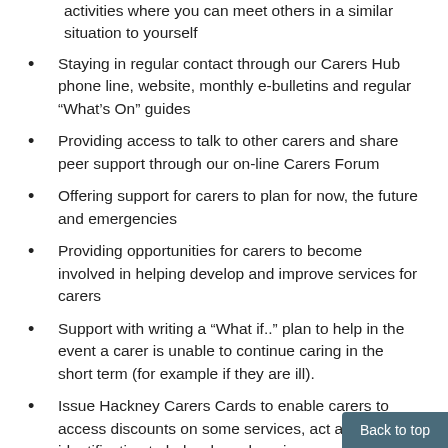activities where you can meet others in a similar situation to yourself
Staying in regular contact through our Carers Hub phone line, website, monthly e-bulletins and regular “What’s On” guides
Providing access to talk to other carers and share peer support through our on-line Carers Forum
Offering support for carers to plan for now, the future and emergencies
Providing opportunities for carers to become involved in helping develop and improve services for carers
Support with writing a “What if..” plan to help in the event a carer is unable to continue caring in the short term (for example if they are ill).
Issue Hackney Carers Cards to enable carers to access discounts on some services, act as identification to help when shopping
Back to top